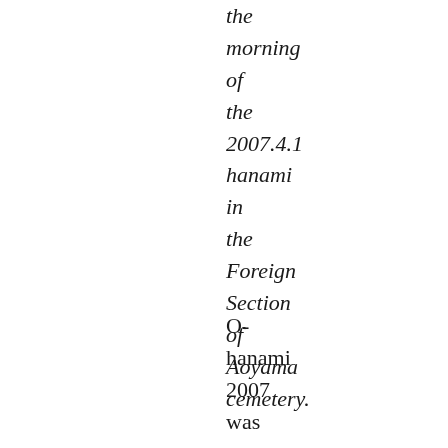the morning of the 2007.4.1 hanami in the Foreign Section of Aoyama cemetery.
O-hanami 2007 was a great success